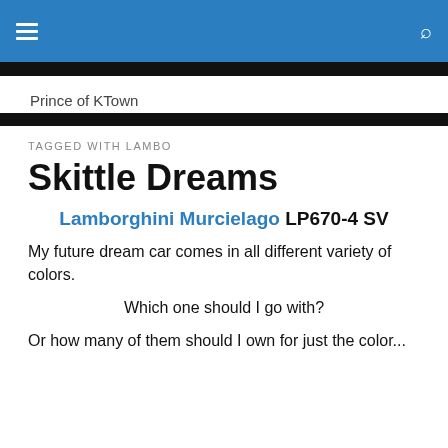Prince of KTown
TAGGED WITH LAMBO
Skittle Dreams
Lamborghini Murcielago LP670-4 SV
My future dream car comes in all different variety of colors.
Which one should I go with?
Or how many of them should I own for just the color...